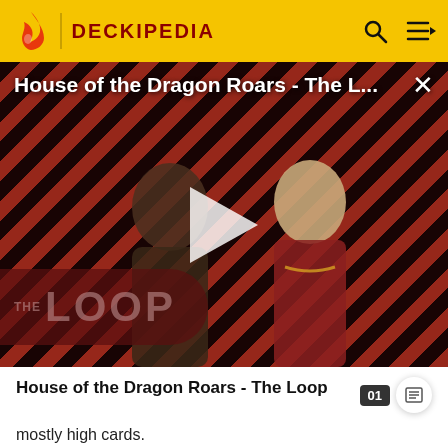DECKIPEDIA
[Figure (screenshot): Video thumbnail for 'House of the Dragon Roars - The Loop' showing two characters against a red-and-black diagonal stripe background, with THE LOOP watermark and a play button overlay.]
House of the Dragon Roars - The Loop
mostly high cards.
A special mention should be made of the card game Set. Whereas cards in a traditional deck have two